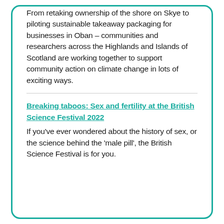From retaking ownership of the shore on Skye to piloting sustainable takeaway packaging for businesses in Oban – communities and researchers across the Highlands and Islands of Scotland are working together to support community action on climate change in lots of exciting ways.
Breaking taboos: Sex and fertility at the British Science Festival 2022
If you've ever wondered about the history of sex, or the science behind the 'male pill', the British Science Festival is for you.